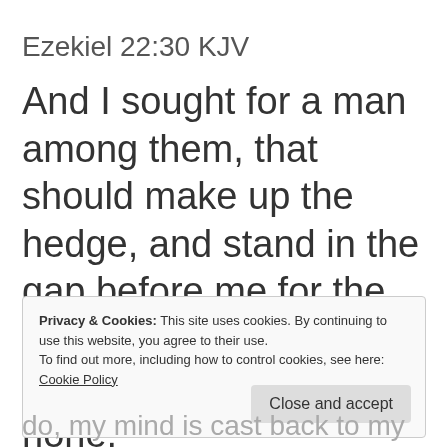Ezekiel 22:30 KJV
And I sought for a man among them, that should make up the hedge, and stand in the gap before me for the land, that I should not destroy it: but I found none.
Privacy & Cookies: This site uses cookies. By continuing to use this website, you agree to their use. To find out more, including how to control cookies, see here: Cookie Policy
Close and accept
do, my mind is cast back to my